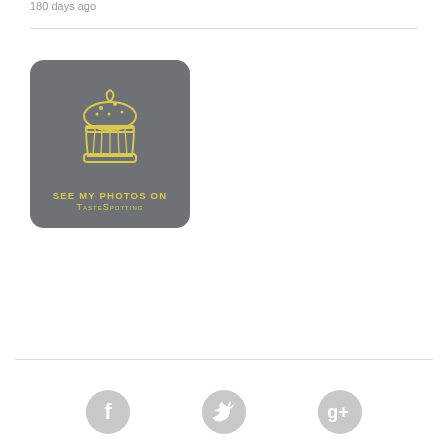180 days ago
[Figure (logo): TasteSpotting badge: grey rounded square with yellow cupcake illustration and text 'SEE MY PHOTOS ON TasteSpotting']
[Figure (other): Social media icons: Facebook, Twitter, Google+ in grey circles]